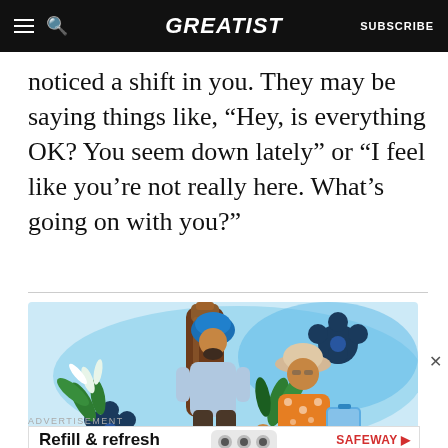GREATIST | SUBSCRIBE
noticed a shift in you. They may be saying things like, “Hey, is everything OK? You seem down lately” or “I feel like you’re not really here. What’s going on with you?”
[Figure (illustration): Illustration showing two people in a social setting with tropical plants, flowers, and a large bottle in the background. A man wearing a blue turban and light blue shirt stands behind a large brown bottle. Another person in an orange floral shirt and hat holds a blue case, with a child nearby. The background is light blue with decorative blue flowers and green foliage.]
ADVERTISEMENT
Refill & refresh in one trip. SAFEWAY Fill now